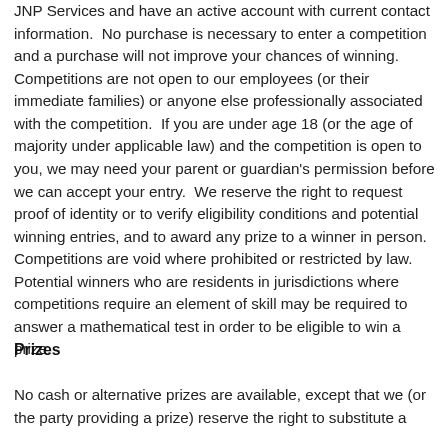JNP Services and have an active account with current contact information.  No purchase is necessary to enter a competition and a purchase will not improve your chances of winning.  Competitions are not open to our employees (or their immediate families) or anyone else professionally associated with the competition.  If you are under age 18 (or the age of majority under applicable law) and the competition is open to you, we may need your parent or guardian's permission before we can accept your entry.  We reserve the right to request proof of identity or to verify eligibility conditions and potential winning entries, and to award any prize to a winner in person.  Competitions are void where prohibited or restricted by law.  Potential winners who are residents in jurisdictions where competitions require an element of skill may be required to answer a mathematical test in order to be eligible to win a prize.
Prizes
No cash or alternative prizes are available, except that we (or the party providing a prize) reserve the right to substitute a